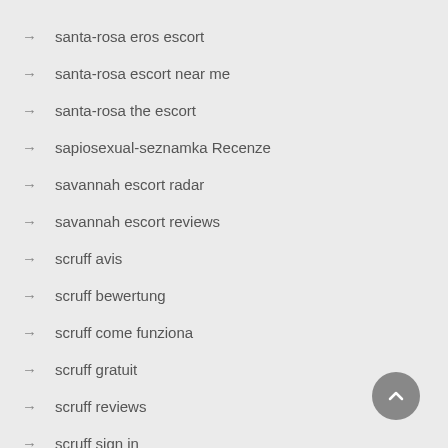santa-rosa eros escort
santa-rosa escort near me
santa-rosa the escort
sapiosexual-seznamka Recenze
savannah escort radar
savannah escort reviews
scruff avis
scruff bewertung
scruff come funziona
scruff gratuit
scruff reviews
scruff sign in